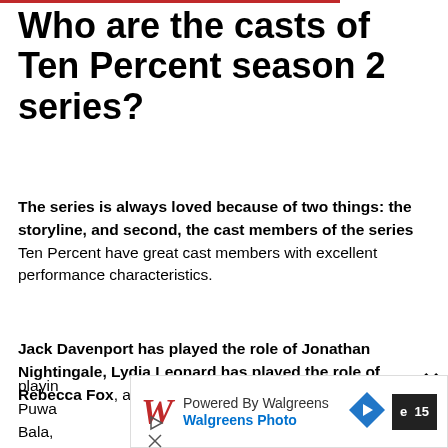Who are the casts of Ten Percent season 2 series?
The series is always loved because of two things: the storyline, and second, the cast members of the series Ten Percent have great cast members with excellent performance characteristics.
Jack Davenport has played the role of Jonathan Nightingale, Lydia Leonard has played the role of Rebecca Fox, and we will also see Maggie Steed playing … Puwa … Bala, … many …
[Figure (other): Walgreens Photo advertisement overlay with Walgreens logo, text 'Powered By Walgreens' and 'Walgreens Photo', a blue diamond arrow icon, and a dark page number button showing '15'. Also close button X and play/close icons.]